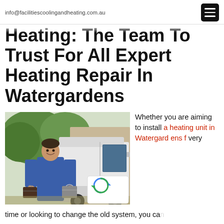info@facilitiescoolingandheating.com.au
Heating: The Team To Trust For All Expert Heating Repair In Watergardens
[Figure (photo): A technician in a blue uniform standing in front of a white van, holding toolboxes, outdoors.]
Whether you are aiming to install a heating unit in Watergardens for a very time or looking to change the old system, you can
time or looking to change the old system, you can